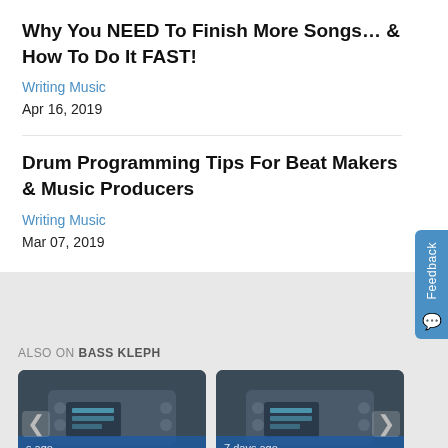Why You NEED To Finish More Songs… & How To Do It FAST!
Writing Music
Apr 16, 2019
Drum Programming Tips For Beat Makers & Music Producers
Writing Music
Mar 07, 2019
ALSO ON BASS KLEPH
[Figure (screenshot): Two thumbnail images side by side showing music production equipment (drum machine/synthesizer). Left thumbnail has nav arrow on left and text 'Programmiu' with label 's ago'. Right thumbnail has nav arrow on right and text 'Progran' with label '7 days ago'.]